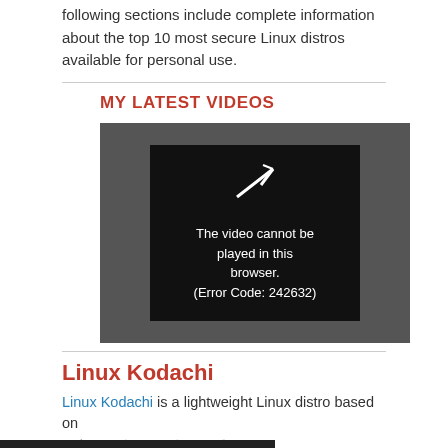following sections include complete information about the top 10 most secure Linux distros available for personal use.
MY LATEST VIDEOS
[Figure (screenshot): Video player showing error message: The video cannot be played in this browser. (Error Code: 242632)]
Linux Kodachi
Linux Kodachi is a lightweight Linux distro based on Xubuntu that can be run from a USB or DVD as a live distro.
[Figure (other): Advertisement banner: WHAT IS YOUR KID FEELING? GET SONGS TO SOUND IT OUT. Sound It Out, Ad Council, Pivotal]